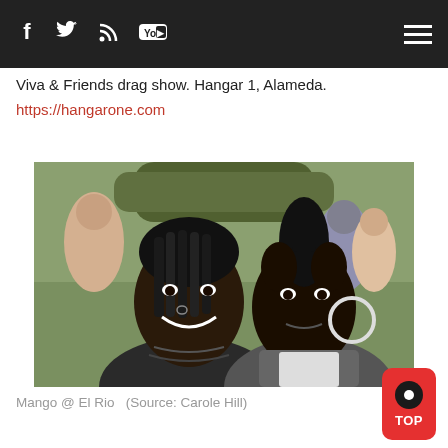Navigation bar with social icons (Facebook, Twitter, RSS, YouTube) and hamburger menu
Viva & Friends drag show. Hangar 1, Alameda.
https://hangarone.com
[Figure (photo): Two Black women smiling and posing closely together at an outdoor event (Mango @ El Rio). Crowd visible in background. Left person has braided hair and nose ring; right person has a mohawk and large hoop earrings.]
Mango @ El Rio  (Source: Carole Hill)